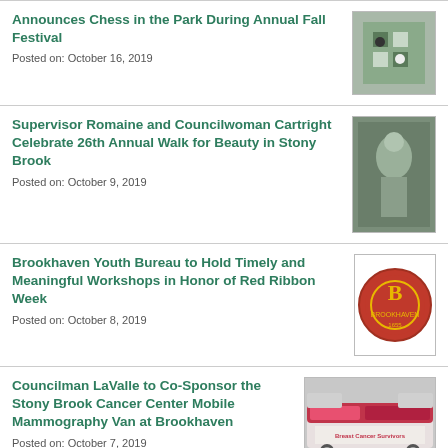Announces Chess in the Park During Annual Fall Festival
Posted on: October 16, 2019
[Figure (photo): Photo related to Chess in the Park event]
Supervisor Romaine and Councilwoman Cartright Celebrate 26th Annual Walk for Beauty in Stony Brook
Posted on: October 9, 2019
[Figure (photo): Photo related to Walk for Beauty event]
Brookhaven Youth Bureau to Hold Timely and Meaningful Workshops in Honor of Red Ribbon Week
Posted on: October 8, 2019
[Figure (logo): Brookhaven Youth Bureau logo - circular red and gold badge]
Councilman LaValle to Co-Sponsor the Stony Brook Cancer Center Mobile Mammography Van at Brookhaven
Posted on: October 7, 2019
[Figure (photo): Photo of Breast Cancer Survivors mobile mammography van]